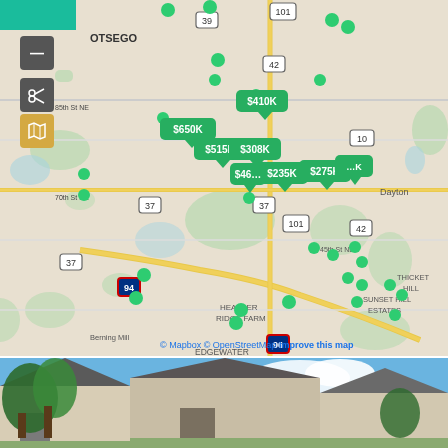[Figure (map): Interactive real estate map showing property listings in the Otsego/Dayton, MN area with price markers ($235K, $275K, $308K, $410K, $515K, $650K, etc.). Map includes road labels (85th St NE, 70th St NE, 45th St NE), neighborhood names (Autumn Woods, Heather Ridge Farm, Sunset Hill Estates, Thicket Hill, Edgewater, Berning Mill), and highway markers (37, 39, 42, 94, 96, 101, 10). Green dots indicate property listings, some with price callouts. Map controls visible on left side.]
[Figure (photo): Photo of residential homes with peaked rooflines against a blue sky with clouds, trees visible in foreground. Gray circular back-to-top button overlaid on right side.]